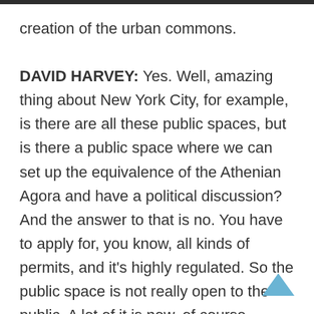creation of the urban commons.

DAVID HARVEY: Yes. Well, amazing thing about New York City, for example, is there are all these public spaces, but is there a public space where we can set up the equivalence of the Athenian Agora and have a political discussion? And the answer to that is no. You have to apply for, you know, all kinds of permits, and it's highly regulated. So the public space is not really open to the public. A lot of it is now, of course, turned into flower beds, and so we have a great place for the